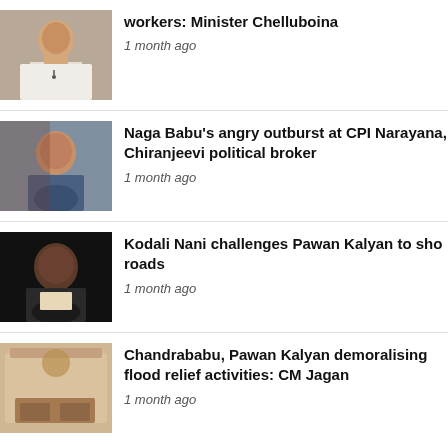[Figure (photo): Thumbnail of a man in white shirt speaking]
workers: Minister Chelluboina
1 month ago
[Figure (photo): Thumbnail of Naga Babu in blue shirt]
Naga Babu’s angry outburst at CPI Narayana, Chiranjeevi political broker
1 month ago
[Figure (photo): Thumbnail of Kodali Nani on dark background]
Kodali Nani challenges Pawan Kalyan to sho roads
1 month ago
[Figure (photo): Thumbnail of empty conference room]
Chandrababu, Pawan Kalyan demoralising flood relief activities: CM Jagan
1 month ago